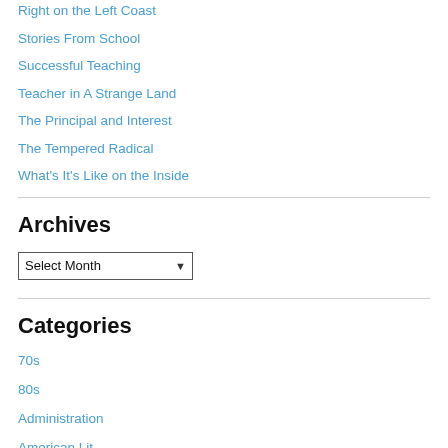Right on the Left Coast
Stories From School
Successful Teaching
Teacher in A Strange Land
The Principal and Interest
The Tempered Radical
What's It's Like on the Inside
Archives
Select Month
Categories
70s
80s
Administration
American Lit.
Article